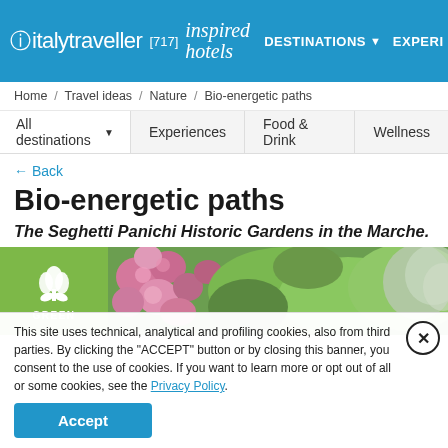italytraveller [717] inspired hotels | DESTINATIONS ▾ | EXPERI
Home / Travel ideas / Nature / Bio-energetic paths
All destinations ▾   Experiences   Food & Drink   Wellness
← Back
Bio-energetic paths
The Seghetti Panichi Historic Gardens in the Marche.
[Figure (photo): Green badge with tulip icon labeled GREEN and a photo strip of pink flowers and lush garden foliage]
This site uses technical, analytical and profiling cookies, also from third parties. By clicking the "ACCEPT" button or by closing this banner, you consent to the use of cookies. If you want to learn more or opt out of all or some cookies, see the Privacy Policy.
Accept